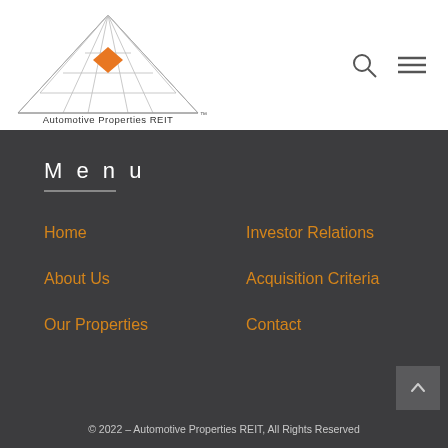[Figure (logo): Automotive Properties REIT logo — grey triangular pyramid shape with an orange diamond accent, with text 'Automotive Properties REIT' below]
Menu
Home
Investor Relations
About Us
Acquisition Criteria
Our Properties
Contact
© 2022 – Automotive Properties REIT, All Rights Reserved